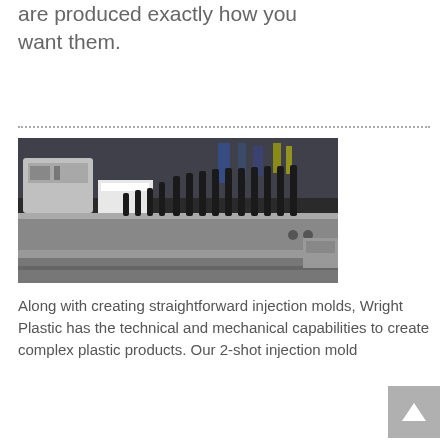are produced exactly how you want them.
[Figure (photo): Close-up photograph of an industrial injection mold tool showing a metal mold base with rows of black ejector pins or sprue bushings arranged along the top edge, with mechanical components visible in the background.]
Along with creating straightforward injection molds, Wright Plastic has the technical and mechanical capabilities to create complex plastic products. Our 2-shot injection mold